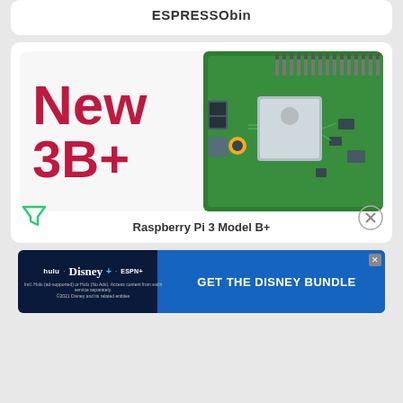ESPRESSObin
[Figure (photo): Raspberry Pi 3 Model B+ promotional image showing 'New 3B+' text in red on the left and a green circuit board (Raspberry Pi) on the right]
Raspberry Pi 3 Model B+
[Figure (infographic): Hulu Disney+ ESPN+ advertisement banner: 'GET THE DISNEY BUNDLE'. Incl. Hulu (ad-supported) or Hulu (No Ads). Access content from each service separately. ©2021 Disney and its related entities]